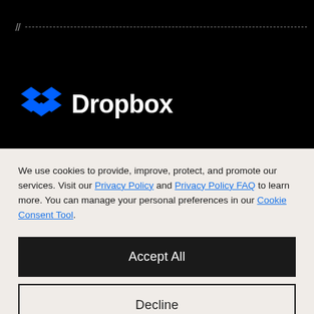[Figure (logo): Dropbox logo with blue diamond icon and white bold text 'Dropbox' on black background, with a dashed line at top]
We use cookies to provide, improve, protect, and promote our services. Visit our Privacy Policy and Privacy Policy FAQ to learn more. You can manage your personal preferences in our Cookie Consent Tool.
Accept All
Decline